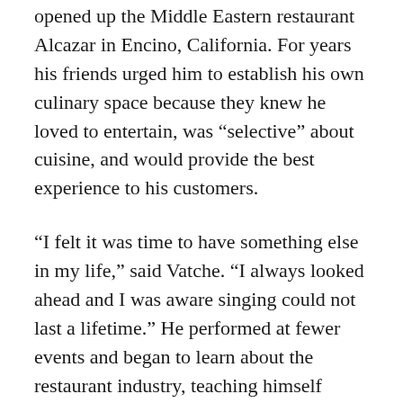opened up the Middle Eastern restaurant Alcazar in Encino, California. For years his friends urged him to establish his own culinary space because they knew he loved to entertain, was “selective” about cuisine, and would provide the best experience to his customers.
“I felt it was time to have something else in my life,” said Vatche. “I always looked ahead and I was aware singing could not last a lifetime.” He performed at fewer events and began to learn about the restaurant industry, teaching himself about the business.
“I knew the taste but I worked on how to prepare the dishes,” said Vatche. The timing was